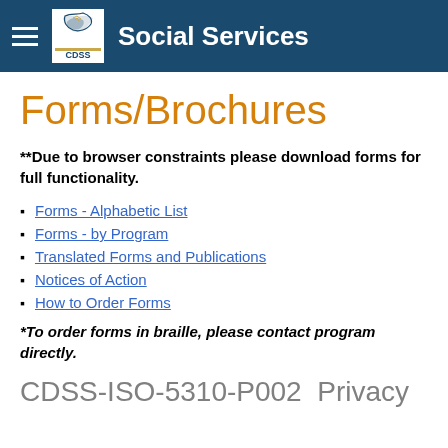Social Services
Forms/Brochures
**Due to browser constraints please download forms for full functionality.
Forms - Alphabetic List
Forms - by Program
Translated Forms and Publications
Notices of Action
How to Order Forms
*To order forms in braille, please contact program directly.
CDSS-ISO-5310-P002  Privacy